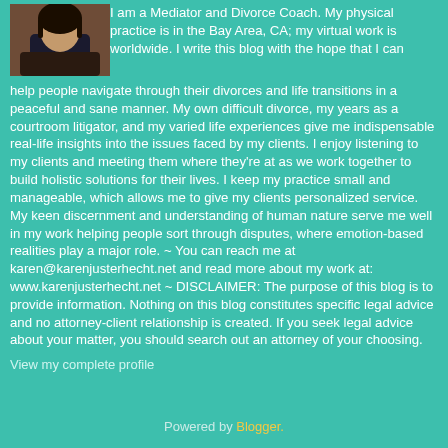[Figure (photo): Profile photo of a woman, partially visible, upper body, dark clothing]
I am a Mediator and Divorce Coach. My physical practice is in the Bay Area, CA; my virtual work is worldwide. I write this blog with the hope that I can help people navigate through their divorces and life transitions in a peaceful and sane manner. My own difficult divorce, my years as a courtroom litigator, and my varied life experiences give me indispensable real-life insights into the issues faced by my clients. I enjoy listening to my clients and meeting them where they're at as we work together to build holistic solutions for their lives. I keep my practice small and manageable, which allows me to give my clients personalized service. My keen discernment and understanding of human nature serve me well in my work helping people sort through disputes, where emotion-based realities play a major role. ~ You can reach me at karen@karenjusterhecht.net and read more about my work at: www.karenjusterhecht.net ~ DISCLAIMER: The purpose of this blog is to provide information. Nothing on this blog constitutes specific legal advice and no attorney-client relationship is created. If you seek legal advice about your matter, you should search out an attorney of your choosing.
View my complete profile
Powered by Blogger.